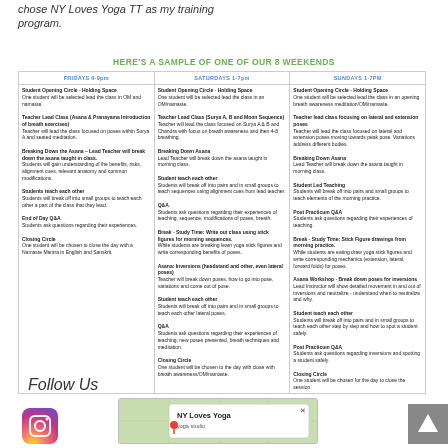chose NY Loves Yoga TT as my training program.
HERE'S A SAMPLE OF ONE OF OUR 8 WEEKENDS
| FRIDAYS 6-9pm | SATURDAYS 1-7pm | SUNDAYS 1-7PM |
| --- | --- | --- |
| Student Opening Circle - Holding Space
One student will be selected lead the class in OM and namaste.

Teacher Lead Class (Asana & Pranayama Introduction of breath exercises)
Teacher will lead the class focused on poses within Surya A and seated meditation.

Breaking Down the Asana – Lead Teacher will break down the asana taught in class.
Students will gain understanding of the benefits, risks, alignment cues, relevant anatomy and common modifications.

Students teach each other
Students will break off into small groups to teach each other a part of the class that they lead.

End of Day Q&A
Students ask questions regarding their experiences.

Closing Circle
One student will be chosen to close the day with a Namaste Mantra in English and Sanskrit. | Student Opening Circle - Holding Space
One student will be selected lead the class in an OM/namaste.

Teacher Lead Class (Surya A, B and Moon Sequence)
Teacher will lead the class focused on Surya A, B and Chandra with focus on breath awareness and then 4-8 breathing.

Breaking Down Asana
Lead Teacher will break down the asana taught in morning class.

Student teach each other
Students will break off into pairs and in small groups to teach sequences using alignment cues from lead teacher.

Q&A
Students ask questions regarding their experiences of teaching, sequence, modifications of poses, breath.

Break - Study Time: Write out class using stick figures for morning sequences.
While students are breaking learn yoga stick figures and write corresponding benefits of poses.

Asana: Inversions (headstand and other, even lateral poses)
Teacher will break down poses, how to go into pose, variations and come out of pose.

Student teach each other
Students will break off into pairs and in small groups to teach each other lateral poses.

Q&A
Students ask questions regarding their experiences of teaching, new poses presented, breath techniques and meditation.

Closing Circle
One student will be chosen to the day with close with breath awareness/OM/namaste. | Student Opening Circle - Holding Space
One student will be selected lead the class in an opening breath awareness meditation/OM/namaste.

Teacher lead class focusing on lateral and extension poses
Teacher will lead the class focused on lateral and extension poses moving towards peak pose. Variations address different bodies.

Breaking Down Asana
Lead Teacher will break down the asana taught in morning class.

Student Led Teaching
Students will break off into pairs and small groups to teach elements of the morning practice.

Post Practicum Q&A
Students ask questions regarding their experiences of teaching.

Break - Study Time: Stick Figure drawings from morning practice.
While students are eating draw yoga stick figures and write corresponding mechanics (extension, lateral, forward folds) for poses.

Asana Workshop - Break down poses for inversions
Lead Instructor will show detailed movement in and out of inversions and neutralize - understand when to neutralize and why.

Student teach each other
Students will break off into pairs and in small groups to teach each other step by step and how to spot a student safely.

Post Practicum Q&A
Students ask questions regarding inversions and spotting a student safely.

Closing Circle
One student will be chosen for the day to close the session. |
Follow Us
[Figure (screenshot): Instagram icon (pink/purple gradient circle) and a map popup showing 'NY Loves Yoga' with a close button]
[Figure (other): Back to top arrow button (grey square with upward arrow)]